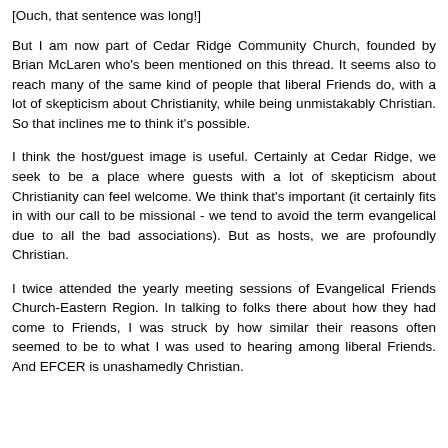[Ouch, that sentence was long!]
But I am now part of Cedar Ridge Community Church, founded by Brian McLaren who's been mentioned on this thread. It seems also to reach many of the same kind of people that liberal Friends do, with a lot of skepticism about Christianity, while being unmistakably Christian. So that inclines me to think it's possible.
I think the host/guest image is useful. Certainly at Cedar Ridge, we seek to be a place where guests with a lot of skepticism about Christianity can feel welcome. We think that's important (it certainly fits in with our call to be missional - we tend to avoid the term evangelical due to all the bad associations). But as hosts, we are profoundly Christian.
I twice attended the yearly meeting sessions of Evangelical Friends Church-Eastern Region. In talking to folks there about how they had come to Friends, I was struck by how similar their reasons often seemed to be to what I was used to hearing among liberal Friends. And EFCER is unashamedly Christian.